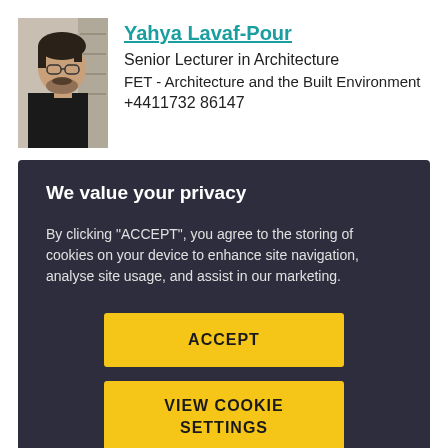[Figure (photo): Profile photo of Yahya Lavaf-Pour, a man with glasses and dark hair wearing a black jacket]
Yahya Lavaf-Pour
Senior Lecturer in Architecture
FET - Architecture and the Built Environment
+4411732 86147
We value your privacy
By clicking "ACCEPT", you agree to the storing of cookies on your device to enhance site navigation, analyse site usage, and assist in our marketing.
ACCEPT
VIEW COOKIE SETTINGS